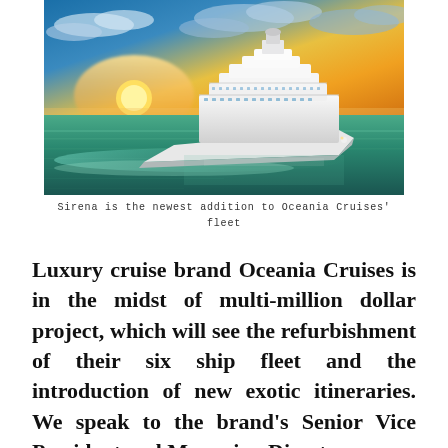[Figure (photo): A large white luxury cruise ship sailing on calm ocean water with a dramatic sunset sky in the background featuring orange, yellow and blue hues.]
Sirena is the newest addition to Oceania Cruises' fleet
Luxury cruise brand Oceania Cruises is in the midst of multi-million dollar project, which will see the refurbishment of their six ship fleet and the introduction of new exotic itineraries. We speak to the brand's Senior Vice President and Managing Director...